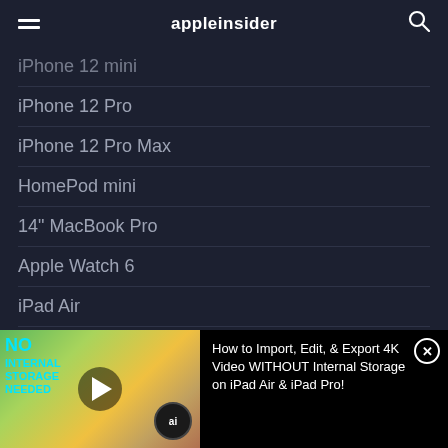appleinsider
iPhone 12 mini
iPhone 12 Pro
iPhone 12 Pro Max
HomePod mini
14" MacBook Pro
Apple Watch 6
iPad Air
More...
[Figure (screenshot): Video thumbnail showing 'No Internal Storage Needed' text with an iPad and camera setup, with AppleInsider 'ai' badge overlay and a play button. Adjacent text reads: How to Import, Edit, & Export 4K Video WITHOUT Internal Storage on iPad Air & iPad Pro!]